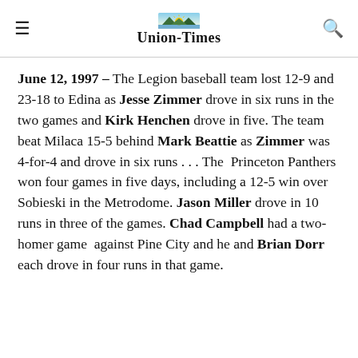Union-Times
June 12, 1997 – The Legion baseball team lost 12-9 and 23-18 to Edina as Jesse Zimmer drove in six runs in the two games and Kirk Henchen drove in five. The team beat Milaca 15-5 behind Mark Beattie as Zimmer was 4-for-4 and drove in six runs . . . The Princeton Panthers won four games in five days, including a 12-5 win over Sobieski in the Metrodome. Jason Miller drove in 10 runs in three of the games. Chad Campbell had a two-homer game against Pine City and he and Brian Dorr each drove in four runs in that game.